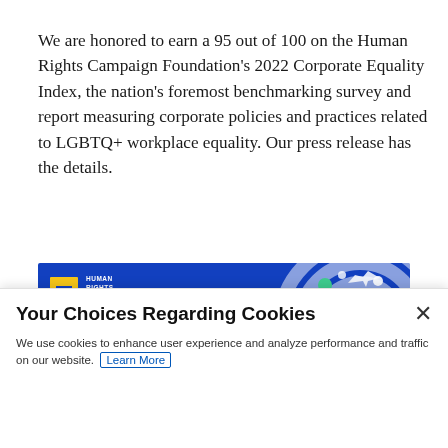We are honored to earn a 95 out of 100 on the Human Rights Campaign Foundation's 2022 Corporate Equality Index, the nation's foremost benchmarking survey and report measuring corporate policies and practices related to LGBTQ+ workplace equality. Our press release has the details.
[Figure (illustration): Human Rights Campaign Foundation banner with blue background, HRC logo (yellow equal sign), white text 'HUMAN RIGHTS CAMPAIGN FOUNDATION', yellow italic text 'Corporate Equality' partially visible, and decorative circular graphic elements on the right side.]
Your Choices Regarding Cookies
We use cookies to enhance user experience and analyze performance and traffic on our website. Learn More